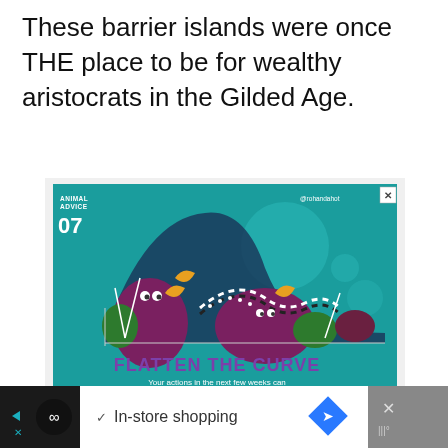These barrier islands were once THE place to be for wealthy aristocrats in the Gilded Age.
[Figure (illustration): Advertisement: 'Animal Advice 07' illustration showing stylized animals (lemurs, birds) in a colorful teal background with text 'FLATTEN THE CURVE - Your actions in the next few weeks can determine the outcome of this year. We can end this quickly.' by @rohandahot]
[Figure (screenshot): Browser bottom toolbar showing in-store shopping option with loop icon, checkmark, navigation diamond arrow, and close button on dark background]